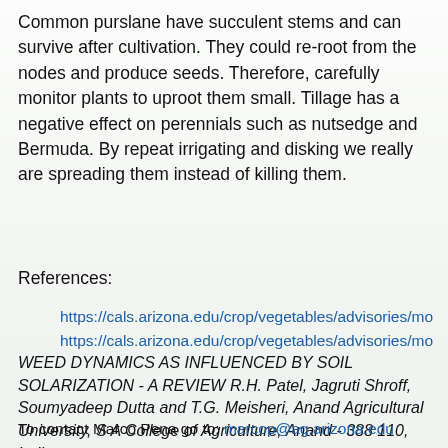Common purslane have succulent stems and can survive after cultivation. They could re-root from the nodes and produce seeds. Therefore, carefully monitor plants to uproot them small. Tillage has a negative effect on perennials such as nutsedge and Bermuda. By repeat irrigating and disking we really are spreading them instead of killing them.
References:
https://cals.arizona.edu/crop/vegetables/advisories/mo
https://cals.arizona.edu/crop/vegetables/advisories/mo
WEED DYNAMICS AS INFLUENCED BY SOIL SOLARIZATION - A REVIEW R.H. Patel, Jagruti Shroff, Soumyadeep Dutta and T.G. Meisheri, Anand Agricultural University, S A College of Agriculture, Anand - 388 110, India
To contact Marco Pena go to: marcop@ag.arizona.edu